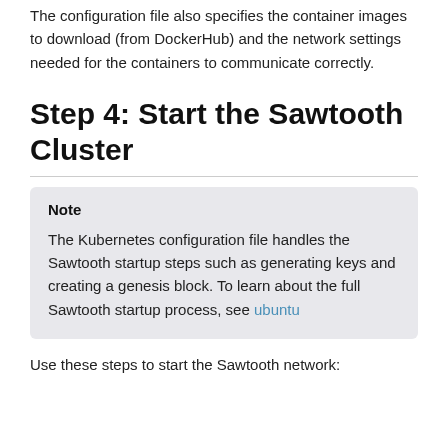The configuration file also specifies the container images to download (from DockerHub) and the network settings needed for the containers to communicate correctly.
Step 4: Start the Sawtooth Cluster
Note
The Kubernetes configuration file handles the Sawtooth startup steps such as generating keys and creating a genesis block. To learn about the full Sawtooth startup process, see ubuntu
Use these steps to start the Sawtooth network: